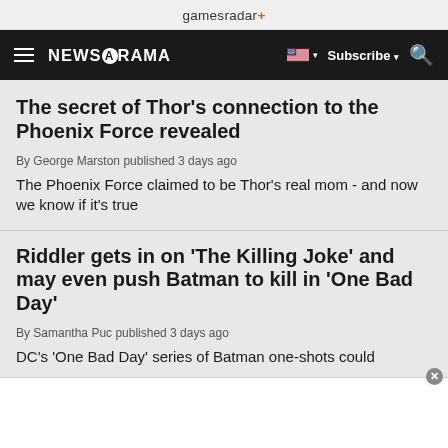gamesradar+
NEWSARAMA Subscribe
The secret of Thor's connection to the Phoenix Force revealed
By George Marston published 3 days ago
The Phoenix Force claimed to be Thor's real mom - and now we know if it's true
Riddler gets in on 'The Killing Joke' and may even push Batman to kill in 'One Bad Day'
By Samantha Puc published 3 days ago
DC's 'One Bad Day' series of Batman one-shots could